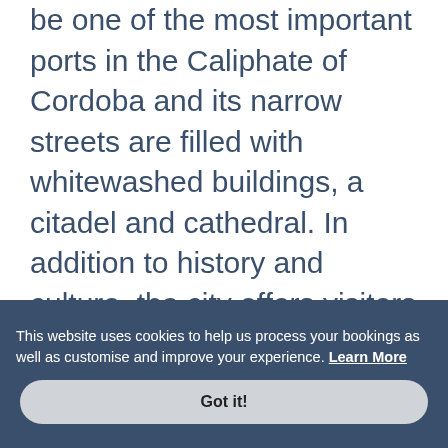be one of the most important ports in the Caliphate of Cordoba and its narrow streets are filled with whitewashed buildings, a citadel and cathedral. In addition to history and culture, the city offers visitors beaches, mountains and coastal nature reserves and a gastronomy that will make for a memorable visit.
A popular attraction in the city is its cathedral which looms large over the heart of the ancient city. The cathedral looks more like a fortress than a place or worship thanks to its towers and thick walls and its design is in reaction to the frequent
This website uses cookies to help us process your bookings as well as customise and improve your experience. Learn More
Got it!